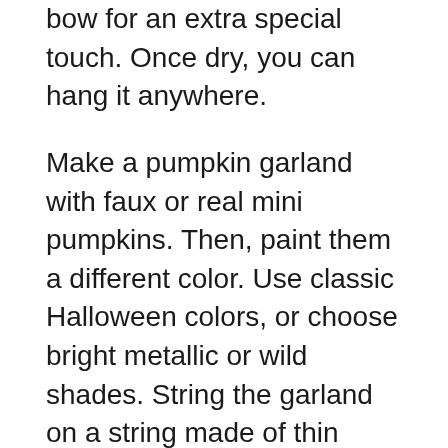bow for an extra special touch. Once dry, you can hang it anywhere.
Make a pumpkin garland with faux or real mini pumpkins. Then, paint them a different color. Use classic Halloween colors, or choose bright metallic or wild shades. String the garland on a string made of thin twine or thick thread for an eye-catching display. Adding a cute wood sign will complete the look. Pumpkins make excellent Halloween decor for simple and easy homemade decorations.
For a more modern look, add some textured pumpkins to your garland. One beautiful example is this one by Jami Ray Vintage. She used scraps and pre-cut boards to create this elegant wall hanging. Adding a whitewashed-style paint finish